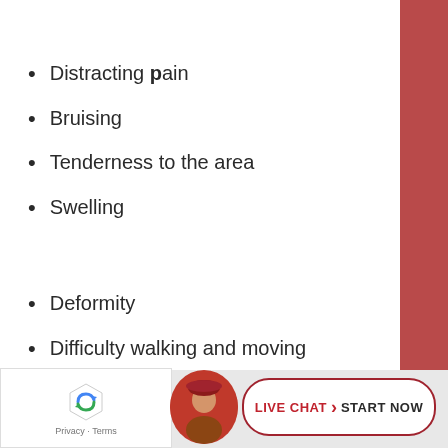Distracting pain
Bruising
Tenderness to the area
Swelling
Deformity
Difficulty walking and moving
Not able to stand
[Figure (other): reCAPTCHA widget with Privacy-Terms text]
[Figure (photo): Avatar photo of a person with red/maroon background hat]
LIVE CHAT  START NOW